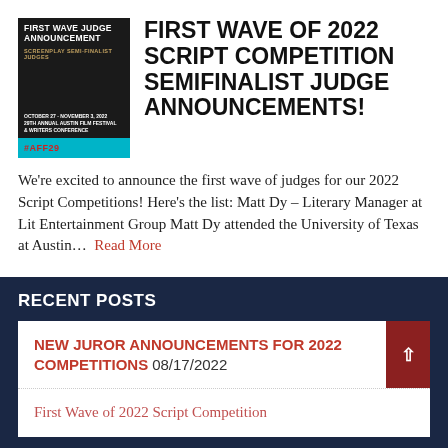[Figure (illustration): First Wave Judge Announcement poster with dark background, cyan stripe, and #AFF29 hashtag]
FIRST WAVE OF 2022 SCRIPT COMPETITION SEMIFINALIST JUDGE ANNOUNCEMENTS!
We're excited to announce the first wave of judges for our 2022 Script Competitions! Here's the list: Matt Dy – Literary Manager at Lit Entertainment Group Matt Dy attended the University of Texas at Austin...  Read More
RECENT POSTS
NEW JUROR ANNOUNCEMENTS FOR 2022 COMPETITIONS 08/17/2022
First Wave of 2022 Script Competition